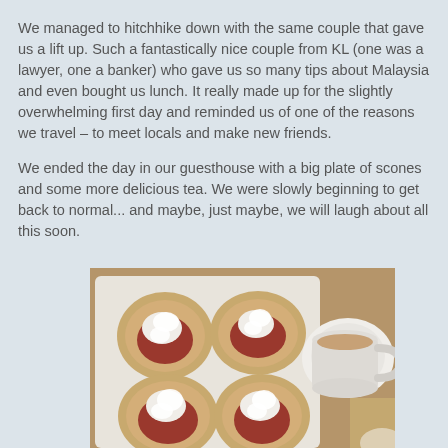We managed to hitchhike down with the same couple that gave us a lift up. Such a fantastically nice couple from KL (one was a lawyer, one a banker) who gave us so many tips about Malaysia and even bought us lunch. It really made up for the slightly overwhelming first day and reminded us of one of the reasons we travel – to meet locals and make new friends.
We ended the day in our guesthouse with a big plate of scones and some more delicious tea. We were slowly beginning to get back to normal... and maybe, just maybe, we will laugh about all this soon.
[Figure (photo): Overhead view of a white square plate with four scones topped with jam and whipped cream, alongside a white cup and saucer filled with tea with milk, on a wooden table surface.]